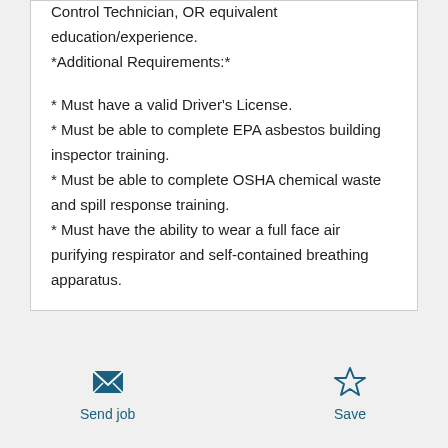Control Technician, OR equivalent education/experience.
*Additional Requirements:*
* Must have a valid Driver's License.
* Must be able to complete EPA asbestos building inspector training.
* Must be able to complete OSHA chemical waste and spill response training.
* Must have the ability to wear a full face air purifying respirator and self-contained breathing apparatus.
Send job  Save